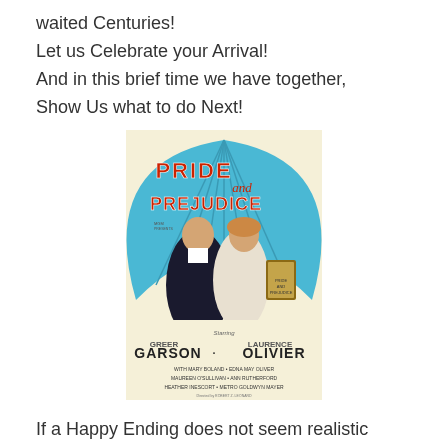waited Centuries!
Let us Celebrate your Arrival!
And in this brief time we have together,
Show Us what to do Next!
[Figure (illustration): Movie poster for 'Pride and Prejudice' featuring Greer Garson and Laurence Olivier, with Mary Boland, Edward Ashley Oliver, Maureen O'Sullivan, Ann Rutherford, and Frieda Inescort. The poster has a blue fan-shaped background with bold red and white lettering, showing a man and woman in period costume.]
If a Happy Ending does not seem realistic enough to you right now,
Then you are not looking beyond what has already been